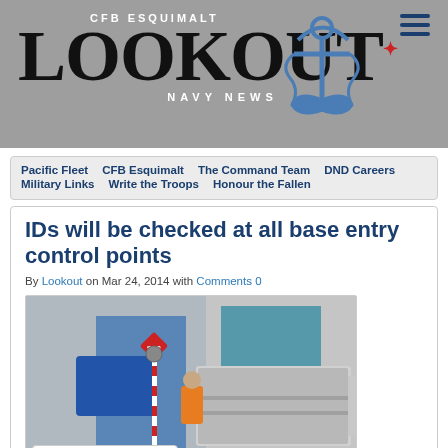[Figure (logo): CFB Esquimalt Lookout Navy News logo with anchor graphic on grey background]
Pacific Fleet  CFB Esquimalt  The Command Team  DND Careers  Military Links  Write the Troops  Honour the Fallen
IDs will be checked at all base entry control points
By Lookout on Mar 24, 2014 with Comments 0
[Figure (photo): A construction worker in an orange safety vest stands near a dump truck at a base entry control point. A red and white striped barrier pole is visible next to a stop sign. A blue canopy structure is in the background.]
English